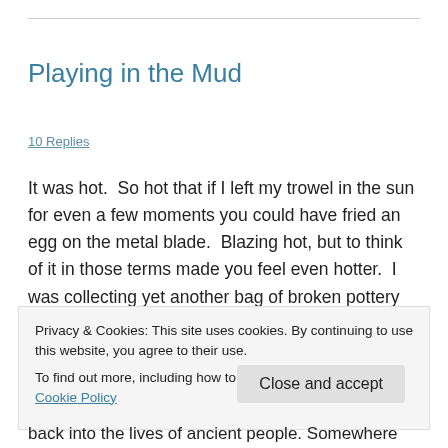Playing in the Mud
10 Replies
It was hot.  So hot that if I left my trowel in the sun for even a few moments you could have fried an egg on the metal blade.  Blazing hot, but to think of it in those terms made you feel even hotter.  I was collecting yet another bag of broken pottery (officially called coarse ware or cook pot ware,
Privacy & Cookies: This site uses cookies. By continuing to use this website, you agree to their use.
To find out more, including how to control cookies, see here: Cookie Policy
back into the lives of ancient people. Somewhere during the